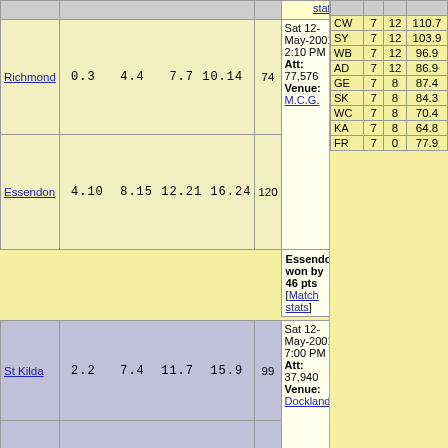| Team | Scores | Total | Match Info |
| --- | --- | --- | --- |
| Richmond | 0.3  4.4  7.7  10.14 | 74 | Sat 12-May-2001 2:10 PM Att: 77,576 Venue: M.C.G. |
| Essendon | 4.10  8.15  12.21  16.24 | 120 | Essendon won by 46 pts [Match stats] |
| St Kilda | 2.2  7.4  11.7  15.9 | 99 | Sat 12-May-2001 7:00 PM Att: 37,940 Venue: Docklands |
| Hawthorn | 4.4  9.6  11.12  16.14 | 110 | Hawthorn won by 11 pts [Match stats] |
| Adelaide | 5.3  6.6  10.15  14.19 | 103 | Sat 12-May-2001 7:10 PM (7:40 PM) Att: 38,292 Venue: Football Park |
| ... | 4.6  5.8  9.9  13.11 | 89 | Adelaide won by 20 |
|  |  |  |  |
| --- | --- | --- | --- |
| CW | 7 | 12 | 110.7 |
| SY | 7 | 12 | 103.9 |
| WB | 7 | 12 | 96.9 |
| AD | 7 | 12 | 86.9 |
| GE | 7 | 8 | 87.4 |
| SK | 7 | 8 | 84.3 |
| WC | 7 | 8 | 70.4 |
| KA | 7 | 8 | 64.8 |
| FR | 7 | 0 | 77.9 |